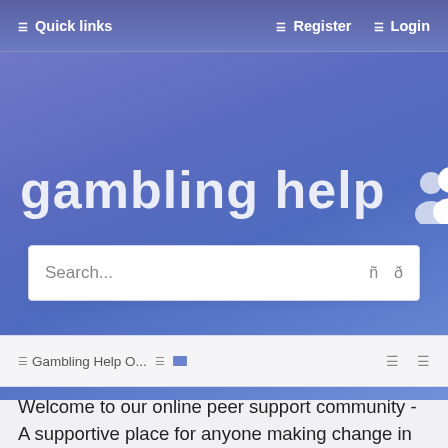☰ Quick links   ☰ Register   ☰ Login
[Figure (screenshot): Gambling Help Online website hero banner with large white semi-transparent text reading 'gambling help' with user/people icon and 'Online', on a blue-purple gradient background]
Search...
☰ Gambling Help O...  ☰🔒
Welcome to our online peer support community - A supportive place for anyone making change in their gambling,